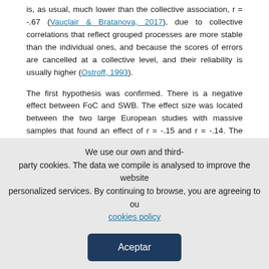is, as usual, much lower than the collective association, r = -.67 (Vauclair & Bratanova, 2017), due to collective correlations that reflect grouped processes are more stable than the individual ones, and because the scores of errors are cancelled at a collective level, and their reliability is usually higher (Ostroff, 1993).
The first hypothesis was confirmed. There is a negative effect between FoC and SWB. The effect size was located between the two large European studies with massive samples that found an effect of r = -.15 and r = -.14. The confidence interval excluded zero and the credibility interval shows that these results are generalizable. In addition, the
We use our own and third-party cookies. The data we compile is analysed to improve the website personalized services. By continuing to browse, you are agreeing to our cookies policy